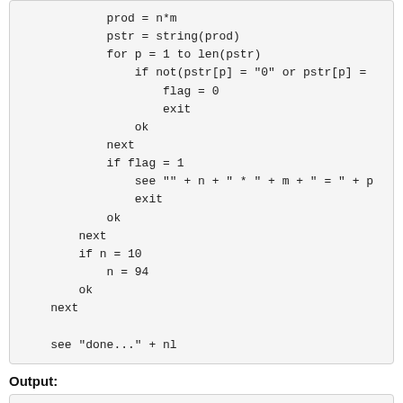Code block showing a program in a BASIC-like language with nested loops and string operations
Output:
working...